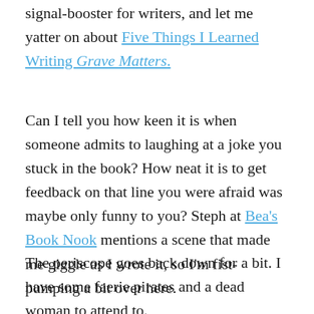signal-booster for writers, and let me yatter on about Five Things I Learned Writing Grave Matters.
Can I tell you how keen it is when someone admits to laughing at a joke you stuck in the book? How neat it is to get feedback on that line you were afraid was maybe only funny to you? Steph at Bea's Book Nook mentions a scene that made me giggle as I wrote it, so I'm fist-pumping a bit over here.
The periscope goes back down for a bit. I have some faerie pirates and a dead woman to attend to.